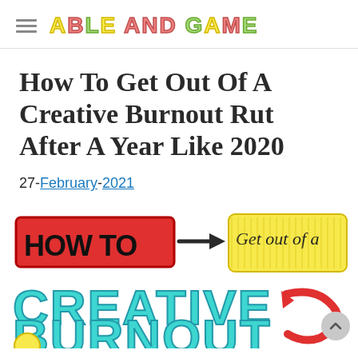ABLE AND GAME
How To Get Out Of A Creative Burnout Rut After A Year Like 2020
27-February-2021
[Figure (illustration): Hand-lettered colorful illustration reading 'HOW TO → Get out of a CREATIVE ← BURNOUT' with bold stylized text in red, yellow, and teal colors with black outlines on white background]